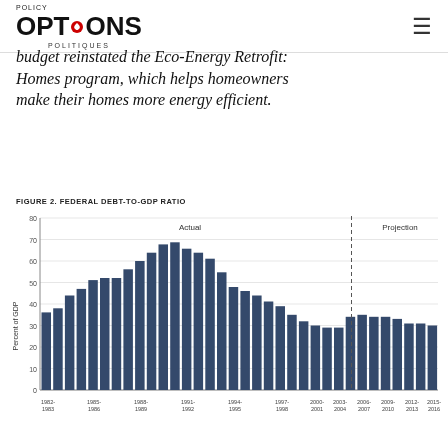Policy Options Politiques
budget reinstated the Eco-Energy Retrofit: Homes program, which helps homeowners make their homes more energy efficient.
FIGURE 2. FEDERAL DEBT-TO-GDP RATIO
[Figure (bar-chart): Federal Debt-to-GDP Ratio]